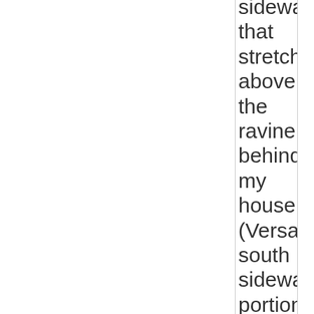sidewalk that stretches above the ravine behind my house (Versailles, south sidewalk portion NW of my white garage). Water runs down sidewalk, but has nowhere to drain and is creating a decent sized hole. Please fix, thanks